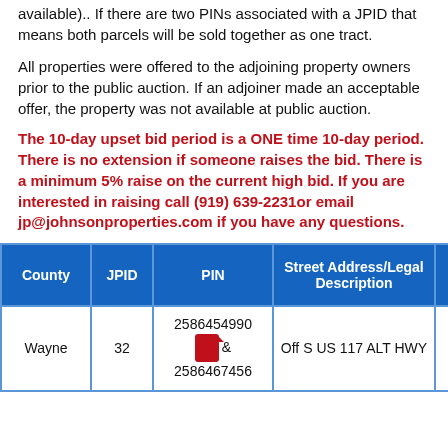available).. If there are two PINs associated with a JPID that means both parcels will be sold together as one tract.
All properties were offered to the adjoining property owners prior to the public auction. If an adjoiner made an acceptable offer, the property was not available at public auction.
The 10-day upset bid period is a ONE time 10-day period. There is no extension if someone raises the bid. There is a minimum 5% raise on the current high bid. If you are interested in raising call (919) 639-2231or email jp@johnsonproperties.com if you have any questions.
| County | JPID | PIN | Street Address/Legal Description |  |
| --- | --- | --- | --- | --- |
| Wayne | 32 | 2586454990 & 2586467456 | Off S US 117 ALT HWY | D |